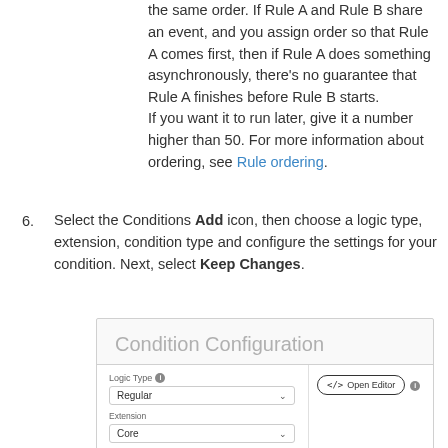the same order. If Rule A and Rule B share an event, and you assign order so that Rule A comes first, then if Rule A does something asynchronously, there's no guarantee that Rule A finishes before Rule B starts.
If you want it to run later, give it a number higher than 50. For more information about ordering, see Rule ordering.
6. Select the Conditions Add icon, then choose a logic type, extension, condition type and configure the settings for your condition. Next, select Keep Changes.
[Figure (screenshot): Condition Configuration UI panel showing Logic Type dropdown set to 'Regular', Extension dropdown set to 'Core', and an Open Editor button on the right.]